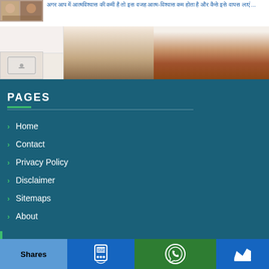[Figure (screenshot): Article thumbnail showing two people and article text in Hindi/Devanagari script]
Hindi/Devanagari script article text ...
[Figure (photo): Three-panel image strip: left panel shows a device on light background, middle panel shows tan/brown gradient, right panel shows reddish-brown gradient]
PAGES
Home
Contact
Privacy Policy
Disclaimer
Sitemaps
About
Shares | SMS | WhatsApp | Crown